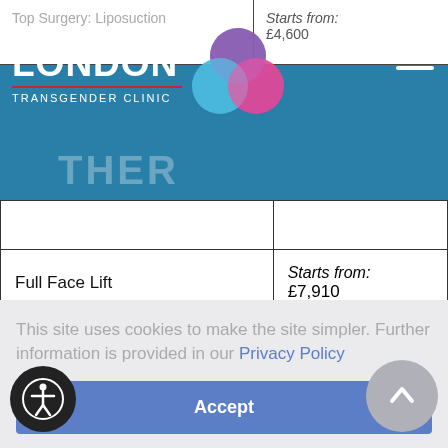The London Transgender Clinic
| Procedure | Price |
| --- | --- |
| Top Surgery: Liposuction | Starts from: £4,600 |
|  |  |
| Full Face Lift | Starts from: £7,910 |
| Mini Face Lift | Starts from: £4,910 |
This site uses cookies to make the site simpler. Further information is provided in our Privacy Policy
Accept